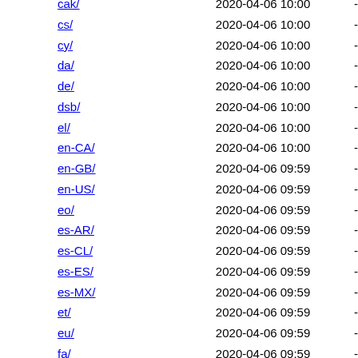cak/ 2020-04-06 10:00 -
cs/ 2020-04-06 10:00 -
cy/ 2020-04-06 10:00 -
da/ 2020-04-06 10:00 -
de/ 2020-04-06 10:00 -
dsb/ 2020-04-06 10:00 -
el/ 2020-04-06 10:00 -
en-CA/ 2020-04-06 10:00 -
en-GB/ 2020-04-06 09:59 -
en-US/ 2020-04-06 09:59 -
eo/ 2020-04-06 09:59 -
es-AR/ 2020-04-06 09:59 -
es-CL/ 2020-04-06 09:59 -
es-ES/ 2020-04-06 09:59 -
es-MX/ 2020-04-06 09:59 -
et/ 2020-04-06 09:59 -
eu/ 2020-04-06 09:59 -
fa/ 2020-04-06 09:59 -
ff/ 2020-04-06 09:59 -
fi/ 2020-04-06 10:00 -
fr/ 2020-04-06 10:00 -